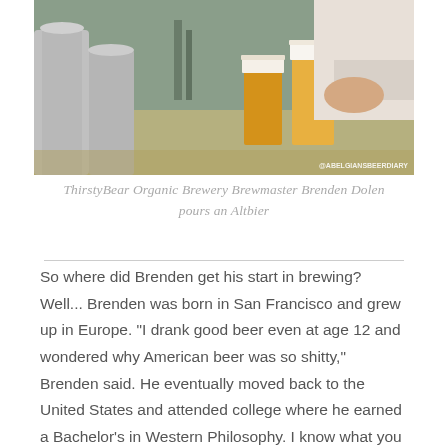[Figure (photo): A brewmaster pouring beer at a bar counter with metal brewing equipment and beer glasses visible. Watermark reads @ABELGIANSBEERDIARY.]
ThirstyBear Organic Brewery Brewmaster Brenden Dolen pours an Altbier
So where did Brenden get his start in brewing? Well... Brenden was born in San Francisco and grew up in Europe. "I drank good beer even at age 12 and wondered why American beer was so shitty," Brenden said. He eventually moved back to the United States and attended college where he earned a Bachelor's in Western Philosophy. I know what you are thinking. What's a guy who has a philosophy degree doing in a brewhouse? Let's just say that over my time learning more about brewers in the area, I've met quite a few